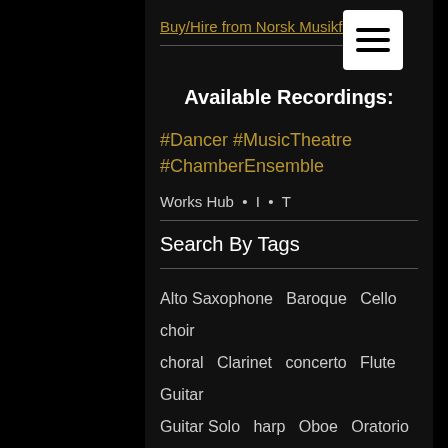Buy/Hire from Norsk Musikfo...
Available Recordings:
#Dancer #MusicTheatre #ChamberEnsemble
Works Hub • I • T
Search By Tags
Alto Saxophone  Baroque  Cello  choir  choral  Clarinet  concerto  Flute  Guitar  Guitar Solo  harp  Oboe  Oratorio